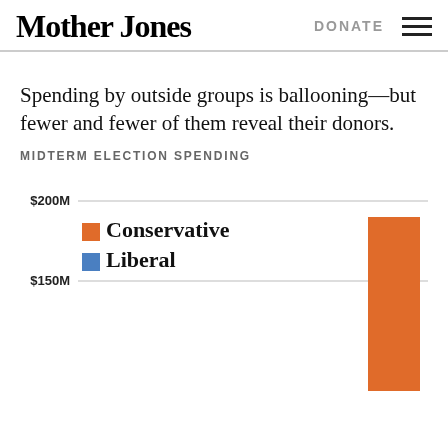Mother Jones   DONATE
Spending by outside groups is ballooning—but fewer and fewer of them reveal their donors.
MIDTERM ELECTION SPENDING
[Figure (bar-chart): Midterm Election Spending]